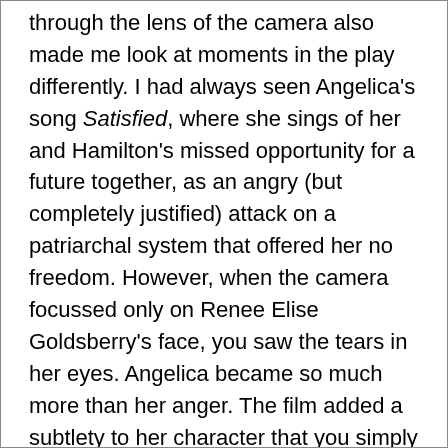through the lens of the camera also made me look at moments in the play differently. I had always seen Angelica's song Satisfied, where she sings of her and Hamilton's missed opportunity for a future together, as an angry (but completely justified) attack on a patriarchal system that offered her no freedom. However, when the camera focussed only on Renee Elise Goldsberry's face, you saw the tears in her eyes. Angelica became so much more than her anger. The film added a subtlety to her character that you simply would not be able to pick up on the stage. Angelica is a victim of a system that demands all women define themselves by their domestic duties. Her line 'I love my sister more than anything in this life,' is simultaneously beautiful and biting. Angelica's